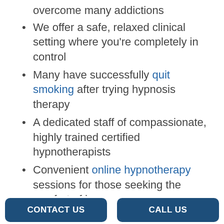overcome many addictions
We offer a safe, relaxed clinical setting where you're completely in control
Many have successfully quit smoking after trying hypnosis therapy
A dedicated staff of compassionate, highly trained certified hypnotherapists
Convenient online hypnotherapy sessions for those seeking the comfort of home
An effective way to overcome nicotine, alcohol, drugs, eating disorders, and more
If you’re new to hypnotherapy and curious about how it has helped others address their own personal struggles and additions, we invite you to get in touch with our staff to learn more. Our website has a
CONTACT US
CALL US